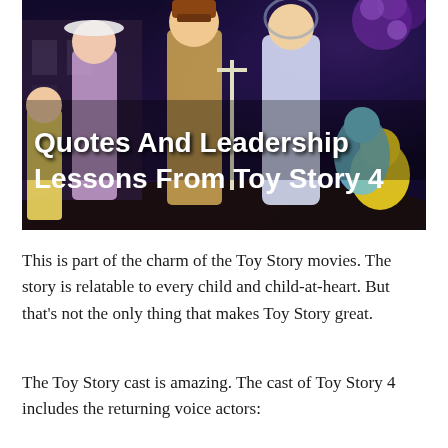[Figure (photo): Movie promotional image for Toy Story 4 showing animated characters including Woody, Buzz Lightyear, Bo Peep, Forky, Gabby Gabby, Ducky, Bunny and other characters against a colorful background. White bold text overlaid reads 'Quotes And Leadership Lessons From Toy Story 4'.]
This is part of the charm of the Toy Story movies. The story is relatable to every child and child-at-heart. But that's not the only thing that makes Toy Story great.
The Toy Story cast is amazing. The cast of Toy Story 4 includes the returning voice actors: